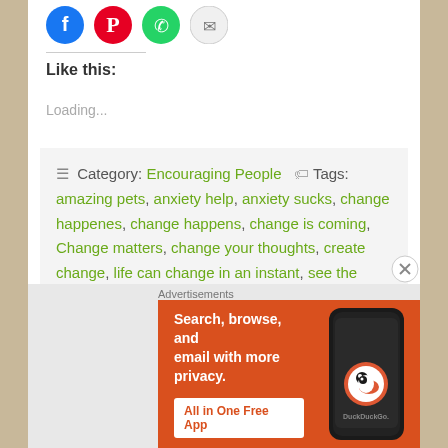[Figure (other): Social sharing icons row: Facebook (blue circle), Pinterest (red circle), WhatsApp (green circle), Email (grey circle)]
Like this:
Loading...
Category: Encouraging People  Tags: amazing pets, anxiety help, anxiety sucks, change happenes, change happens, change is coming, Change matters, change your thoughts, create change, life can change in an instant, see the change, sleeping pets, to be like our pets
[Figure (screenshot): DuckDuckGo advertisement banner with orange background. Text: Search, browse, and email with more privacy. All in One Free App. DuckDuckGo logo with phone image.]